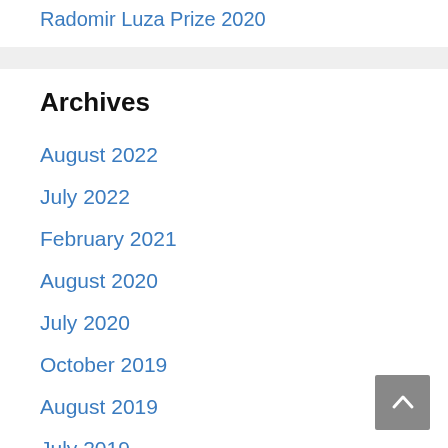Radomir Luza Prize 2020
Archives
August 2022
July 2022
February 2021
August 2020
July 2020
October 2019
August 2019
July 2019
February 2019